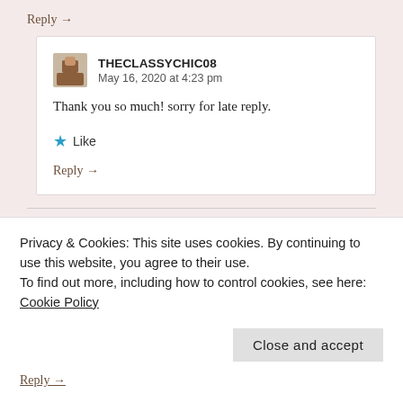Reply →
THECLASSYCHIC08
May 16, 2020 at 4:23 pm
Thank you so much! sorry for late reply.
★ Like
Reply →
ADDITIONAL INFO
Privacy & Cookies: This site uses cookies. By continuing to use this website, you agree to their use.
To find out more, including how to control cookies, see here:
Cookie Policy
Close and accept
Reply →